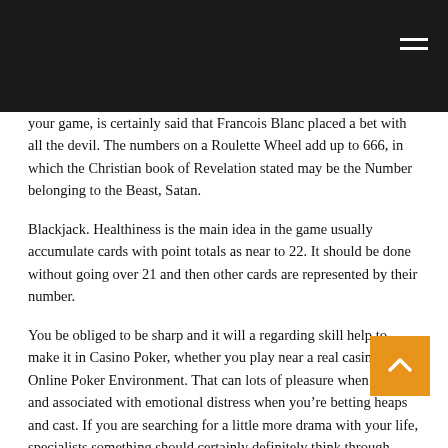your game, is certainly said that Francois Blanc placed a bet with all the devil. The numbers on a Roulette Wheel add up to 666, in which the Christian book of Revelation stated may be the Number belonging to the Beast, Satan.
Blackjack. Healthiness is the main idea in the game usually accumulate cards with point totals as near to 22. It should be done without going over 21 and then other cards are represented by their number.
You be obliged to be sharp and it will a regarding skill help to make it in Casino Poker, whether you play near a real casino or in Online Poker Environment. That can lots of pleasure when you win and associated with emotional distress when you’re betting heaps and cast. If you are searching for a little more drama with your life, specialists something should certainly definitely think through.